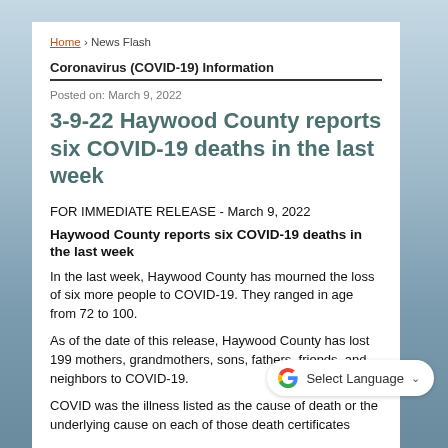Home › News Flash
Coronavirus (COVID-19) Information
Posted on: March 9, 2022
3-9-22 Haywood County reports six COVID-19 deaths in the last week
FOR IMMEDIATE RELEASE - March 9, 2022
Haywood County reports six COVID-19 deaths in the last week
In the last week, Haywood County has mourned the loss of six more people to COVID-19. They ranged in age from 72 to 100.
As of the date of this release, Haywood County has lost 199 mothers, grandmothers, sons, fathers, friends, and neighbors to COVID-19.
COVID was the illness listed as the cause of death or the underlying cause on each of those death certificates